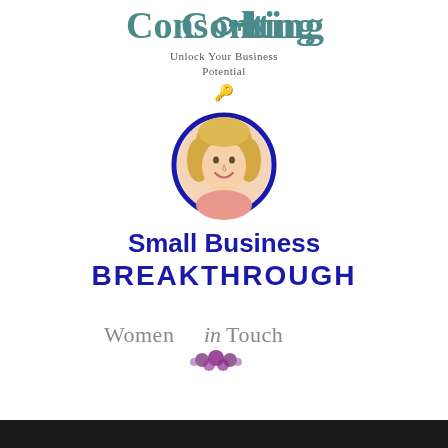[Figure (logo): Consulting logo text in teal serif font with tagline 'Unlock Your Business Potential' and a key icon below]
[Figure (photo): Circular portrait photo of a blonde woman smiling, framed with a dark blue circle border]
Small Business BREAKTHROUGH
[Figure (logo): Women in Touch logo with italic script 'in' and purple flower/butterfly graphic below the text]